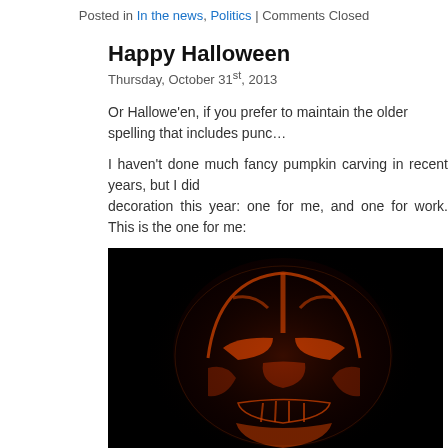Posted in In the news, Politics | Comments Closed
Happy Halloween
Thursday, October 31st, 2013
Or Hallowe'en, if you prefer to maintain the older spelling that includes punc…
I haven't done much fancy pumpkin carving in recent years, but I did decoration this year: one for me, and one for work. This is the one for me:
[Figure (photo): A carved pumpkin glowing in the dark, depicting Darth Vader's helmet from Star Wars, with orange light shining through the carved design against a black background.]
Here is the one I did for work:
[Figure (photo): Bottom of another carved pumpkin image, partially visible.]